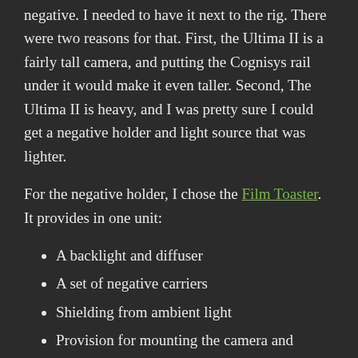negative. I needed to have it next to the rig. There were two reasons for that. First, the Ultima II is a fairly tall camera, and putting the Cognisys rail under it would make it even taller. Second, The Ultima II is heavy, and I was pretty sure I could get a negative holder and light source that was lighter.
For the negative holder, I chose the Film Toaster. It provides in one unit:
A backlight and diffuser
A set of negative carriers
Shielding from ambient light
Provision for mounting the camera and adjusting the lens to negative distance
It turns out that the gear that does the last bullet above was incompatible with the Cambo Ultima II hardware.